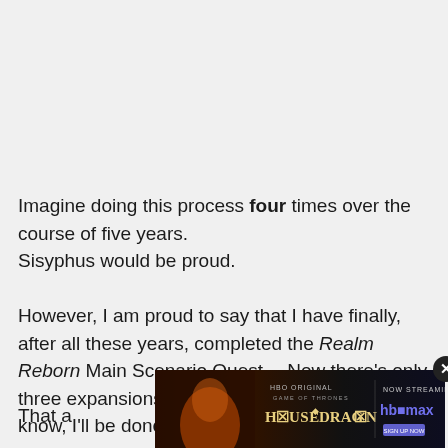Imagine doing this process four times over the course of five years.
Sisyphus would be proud.
However, I am proud to say that I have finally, after all these years, completed the Realm Reborn Main Scenario Quest... Now there's only three expansions left for me to tackle so, you know, I'll be done with the game in a few years.
[Figure (photo): HBO Max advertisement banner for House of the Dragon streaming show, with close button]
That a... ...hat